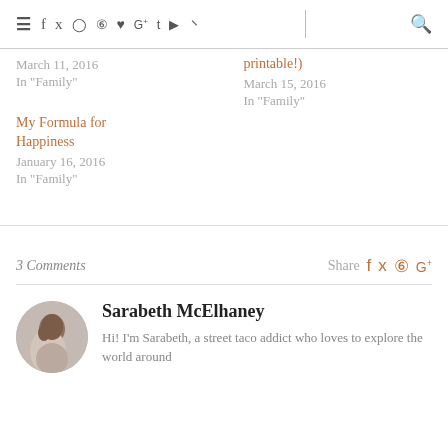≡ f t ◎ ⊕ ♥ G+ t ▶ ))) | 🔍
March 11, 2016
In "Family"
printable!)
March 15, 2016
In "Family"
My Formula for Happiness
January 16, 2016
In "Family"
3 Comments   Share
Sarabeth McElhaney
Hi! I'm Sarabeth, a street taco addict who loves to explore the world around